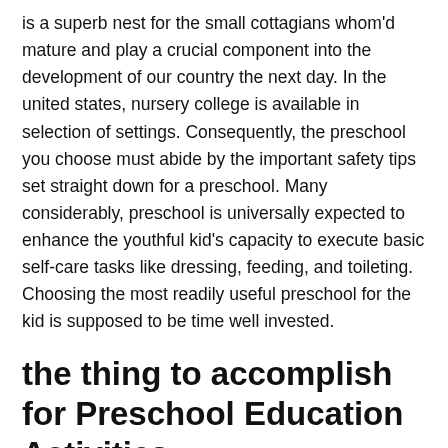is a superb nest for the small cottagians whom'd mature and play a crucial component into the development of our country the next day. In the united states, nursery college is available in selection of settings. Consequently, the preschool you choose must abide by the important safety tips set straight down for a preschool. Many considerably, preschool is universally expected to enhance the youthful kid's capacity to execute basic self-care tasks like dressing, feeding, and toileting. Choosing the most readily useful preschool for the kid is supposed to be time well invested.
the thing to accomplish for Preschool Education Activities
strategies differ in each session that is individual. Details about the progress, school tasks should always be provided and distributed around moms and dads on a basis that is standard